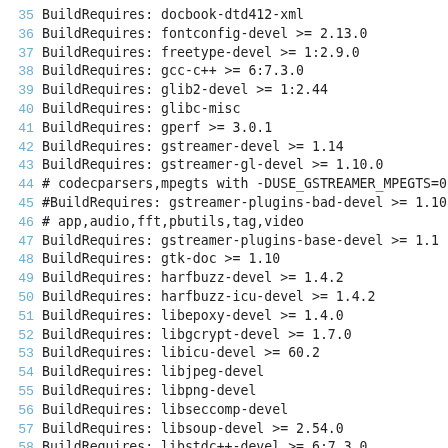35 BuildRequires:   docbook-dtd412-xml
36 BuildRequires:   fontconfig-devel >= 2.13.0
37 BuildRequires:   freetype-devel >= 1:2.9.0
38 BuildRequires:   gcc-c++ >= 6:7.3.0
39 BuildRequires:   glib2-devel >= 1:2.44
40 BuildRequires:   glibc-misc
41 BuildRequires:   gperf >= 3.0.1
42 BuildRequires:   gstreamer-devel >= 1.14
43 BuildRequires:   gstreamer-gl-devel >= 1.10.0
44 # codecparsers,mpegts with -DUSE_GSTREAMER_MPEGTS=0
45 #BuildRequires: gstreamer-plugins-bad-devel >= 1.10
46 # app,audio,fft,pbutils,tag,video
47 BuildRequires:   gstreamer-plugins-base-devel >= 1.1
48 BuildRequires:   gtk-doc >= 1.10
49 BuildRequires:   harfbuzz-devel >= 1.4.2
50 BuildRequires:   harfbuzz-icu-devel >= 1.4.2
51 BuildRequires:   libepoxy-devel >= 1.4.0
52 BuildRequires:   libgcrypt-devel >= 1.7.0
53 BuildRequires:   libicu-devel >= 60.2
54 BuildRequires:   libjpeg-devel
55 BuildRequires:   libpng-devel
56 BuildRequires:   libseccomp-devel
57 BuildRequires:   libsoup-devel >= 2.54.0
58 BuildRequires:   libstdc++-devel >= 6:7.3.0
59 BuildRequires:   libtasn1-devel